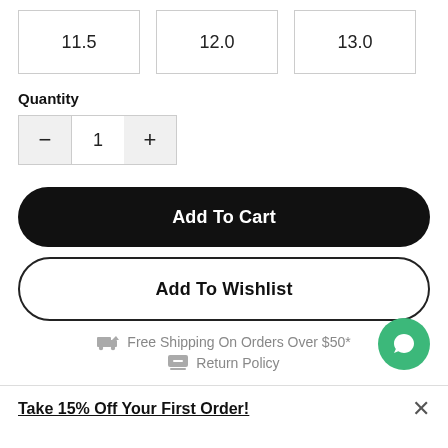| 11.5 | 12.0 | 13.0 |
Quantity
- 1 +
Add To Cart
Add To Wishlist
Free Shipping On Orders Over $50*
Return Policy
Take 15% Off Your First Order!